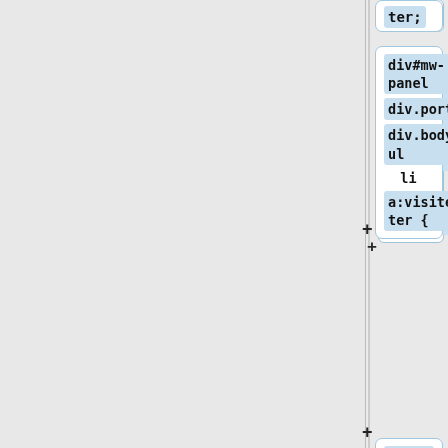[Figure (screenshot): Screenshot of a code/CSS diff viewer interface showing a left gray panel and right panel with code cards. Each card shows CSS selector or property text in monospace font on light blue highlighted backgrounds. Cards show: 'ter;', 'div#mw-panel div.portal div.body ul li a:visited:after {', 'content: "\2713";', empty card, 'vertical-align: super;', and another empty card with partial card at bottom. Plus (+) icons appear to the left of each card.]